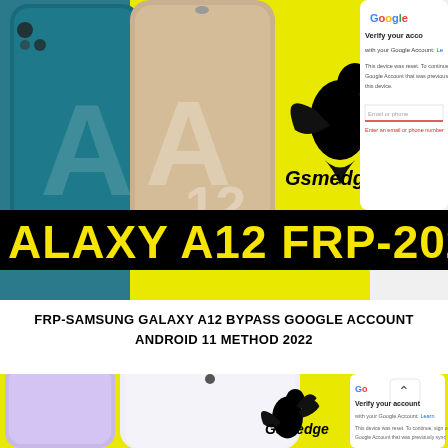[Figure (screenshot): Samsung Galaxy A12 phone promotional image with yellow background, Gsmedge logo, and banner text 'ALAXY A12 FRP-202' on black background. Also shows a Google 'Verify your account' screen on the right side.]
FRP-SAMSUNG GALAXY A12 BYPASS GOOGLE ACCOUNT ANDROID 11 METHOD 2022
[Figure (screenshot): Another Samsung phone (Galaxy A52 style) with yellow background, Gsmedge logo, and partial Google 'Verify your account' screen visible on right.]